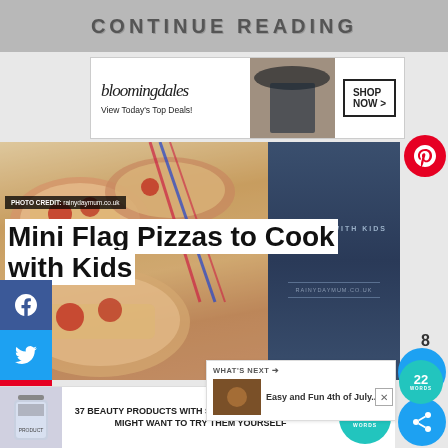CONTINUE READING
[Figure (photo): Bloomingdales advertisement banner: View Today's Top Deals! with SHOP NOW > button and model photo]
[Figure (photo): Mini flag pizzas food photograph with blue/navy info panel showing COOKING WITH KIDS and RAINYDAYMUM.CO.UK]
PHOTO CREDIT: rainydaymum.co.uk
Mini Flag Pizzas to Cook with Kids
[Figure (photo): Advertisement with 22 WORDS badge and beauty/cosmetics product image]
37 BEAUTY PRODUCTS WITH SUCH GOOD REVIEWS YOU MIGHT WANT TO TRY THEM YOURSELF
WHAT'S NEXT → Easy and Fun 4th of July...
8